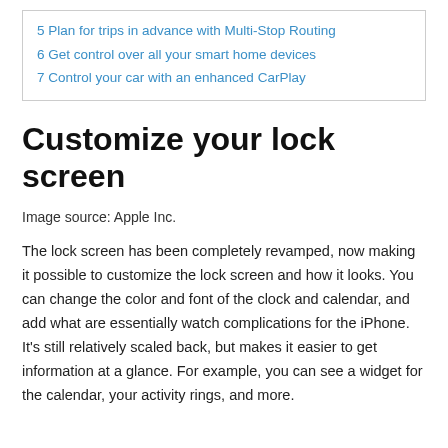5 Plan for trips in advance with Multi-Stop Routing
6 Get control over all your smart home devices
7 Control your car with an enhanced CarPlay
Customize your lock screen
Image source: Apple Inc.
The lock screen has been completely revamped, now making it possible to customize the lock screen and how it looks. You can change the color and font of the clock and calendar, and add what are essentially watch complications for the iPhone. It's still relatively scaled back, but makes it easier to get information at a glance. For example, you can see a widget for the calendar, your activity rings, and more.